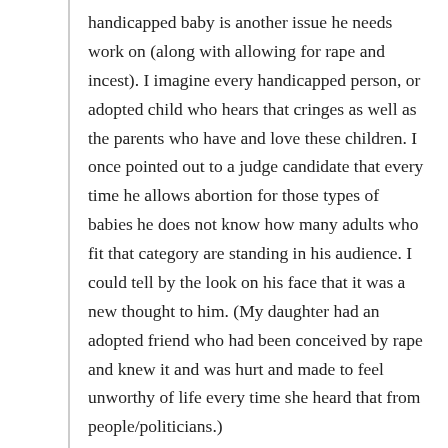handicapped baby is another issue he needs work on (along with allowing for rape and incest). I imagine every handicapped person, or adopted child who hears that cringes as well as the parents who have and love these children. I once pointed out to a judge candidate that every time he allows abortion for those types of babies he does not know how many adults who fit that category are standing in his audience. I could tell by the look on his face that it was a new thought to him. (My daughter had an adopted friend who had been conceived by rape and knew it and was hurt and made to feel unworthy of life every time she heard that from people/politicians.)

Anyway, thank you again.